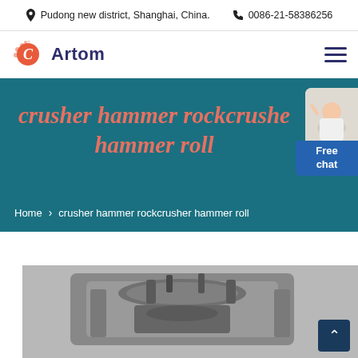Pudong new district, Shanghai, China.  0086-21-58386256
[Figure (logo): Artom company logo with red circular C icon and dark blue 'Artom' text]
crusher hammer rockcrusher hammer roll
Home > crusher hammer rockcrusher hammer roll
[Figure (photo): Industrial crusher/grinding machine equipment, metal cylindrical machinery photographed from above]